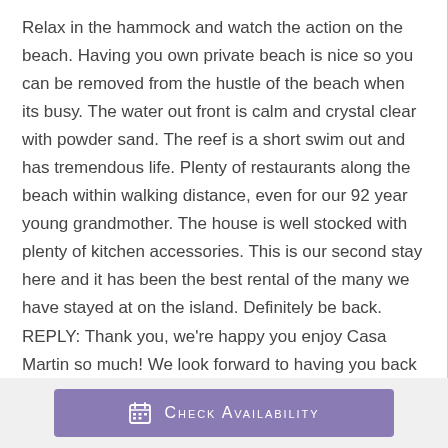Relax in the hammock and watch the action on the beach. Having you own private beach is nice so you can be removed from the hustle of the beach when its busy. The water out front is calm and crystal clear with powder sand. The reef is a short swim out and has tremendous life. Plenty of restaurants along the beach within walking distance, even for our 92 year young grandmother. The house is well stocked with plenty of kitchen accessories. This is our second stay here and it has been the best rental of the many we have stayed at on the island. Definitely be back. REPLY: Thank you, we're happy you enjoy Casa Martin so much! We look forward to having you back again.
CHECK AVAILABILITY